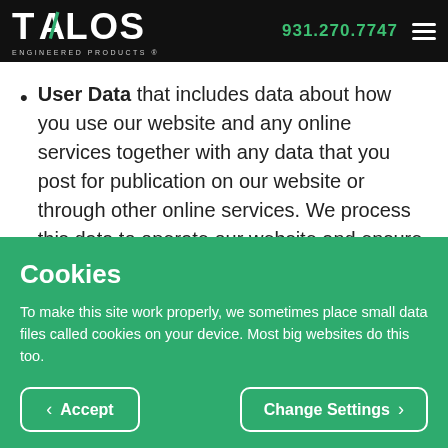TALOS ENGINEERED PRODUCTS® — 931.270.7747
User Data that includes data about how you use our website and any online services together with any data that you post for publication on our website or through other online services. We process this data to operate our website and ensure relevant content is provided to you, to
Cookies
To make this site work properly, we sometimes place small data files called cookies on your device. Most big websites do this too.
Accept | Change Settings